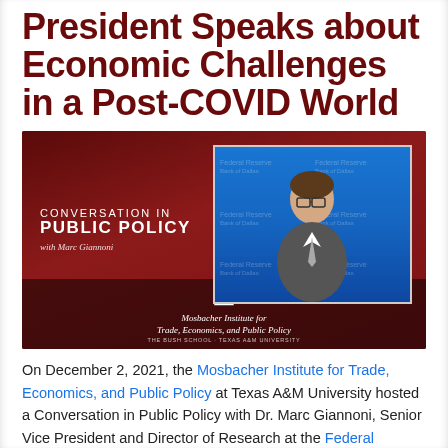President Speaks about Economic Challenges in a Post-COVID World
[Figure (photo): Video screenshot of 'Conversation in Public Policy with Marc Giannoni' showing a man in a suit on a video call with a blue Federal Reserve Bank of Dallas background, overlaid on a dark red background with Texas A&M Mosbacher Institute branding and logo.]
On December 2, 2021, the Mosbacher Institute for Trade, Economics, and Public Policy at Texas A&M University hosted a Conversation in Public Policy with Dr. Marc Giannoni, Senior Vice President and Director of Research at the Federal Reserve Bank of Dallas,